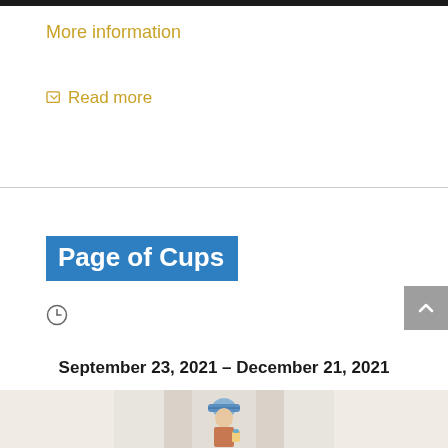More information
Read more
Page of Cups
September 23, 2021 – December 21, 2021
[Figure (illustration): Tarot card illustration showing a figure in blue hat holding a cup, partial view]